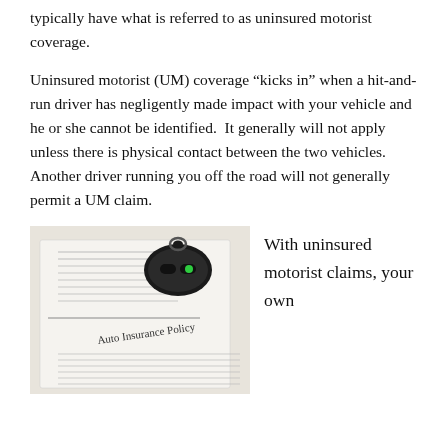typically have what is referred to as uninsured motorist coverage.
Uninsured motorist (UM) coverage “kicks in” when a hit-and-run driver has negligently made impact with your vehicle and he or she cannot be identified.  It generally will not apply unless there is physical contact between the two vehicles.  Another driver running you off the road will not generally permit a UM claim.
[Figure (photo): Photo of an Auto Insurance Policy document with a car key fob placed on top of it.]
With uninsured motorist claims, your own